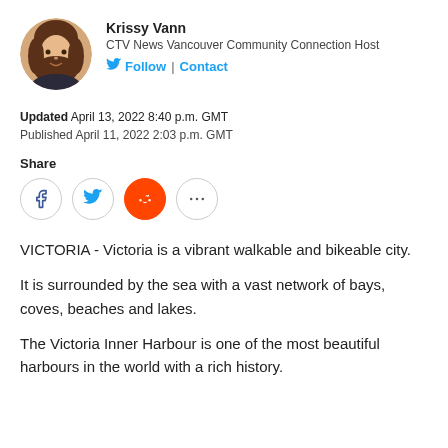[Figure (photo): Circular headshot photo of Krissy Vann, a woman with brown hair]
Krissy Vann
CTV News Vancouver Community Connection Host
Follow | Contact
Updated April 13, 2022 8:40 p.m. GMT
Published April 11, 2022 2:03 p.m. GMT
Share
[Figure (infographic): Social share buttons: Facebook, Twitter, Reddit, and more (ellipsis)]
VICTORIA - Victoria is a vibrant walkable and bikeable city.
It is surrounded by the sea with a vast network of bays, coves, beaches and lakes.
The Victoria Inner Harbour is one of the most beautiful harbours in the world with a rich history.